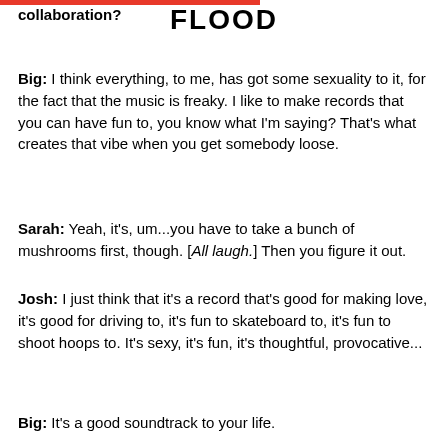collaboration?
[Figure (logo): FLOOD magazine logo in bold black uppercase letters]
Big: I think everything, to me, has got some sexuality to it, for the fact that the music is freaky. I like to make records that you can have fun to, you know what I'm saying? That's what creates that vibe when you get somebody loose.
Sarah: Yeah, it's, um...you have to take a bunch of mushrooms first, though. [All laugh.] Then you figure it out.
Josh: I just think that it's a record that's good for making love, it's good for driving to, it's fun to skateboard to, it's fun to shoot hoops to. It's sexy, it's fun, it's thoughtful, provocative...
Big: It's a good soundtrack to your life.